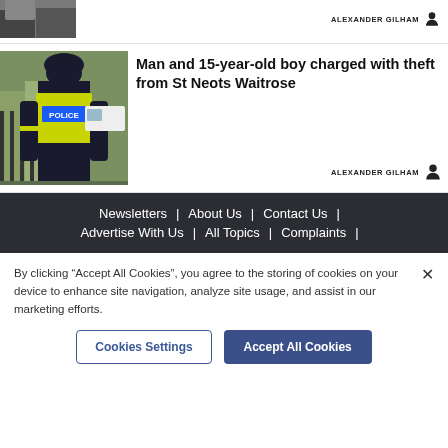[Figure (photo): Partial view of top news card with cropped photo (two people) and ALEXANDER GILHAM author credit]
[Figure (photo): Police officer in high-visibility yellow vest with POLICE written on back, standing on a street]
Man and 15-year-old boy charged with theft from St Neots Waitrose
ALEXANDER GILHAM
Newsletters | About Us | Contact Us | Advertise With Us | All Topics | Complaints |
By clicking “Accept All Cookies”, you agree to the storing of cookies on your device to enhance site navigation, analyze site usage, and assist in our marketing efforts.
Cookies Settings   Accept All Cookies